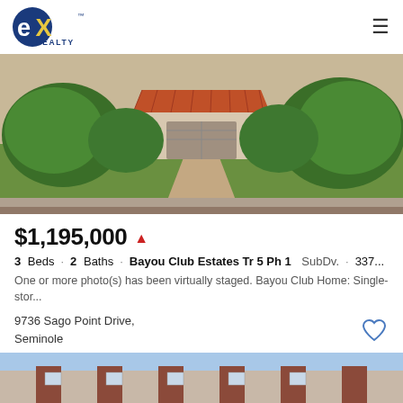[Figure (logo): eXp Realty logo in blue]
[Figure (photo): Aerial view of a single-story home with orange tile roof, surrounded by large green trees, with a brick paver driveway]
$1,195,000
3 Beds · 2 Baths · Bayou Club Estates Tr 5 Ph 1 SubDv. · 337...
One or more photo(s) has been virtually staged. Bayou Club Home: Single-stor...
9736 Sago Point Drive, Seminole
Listing courtesy of ALTRU REALTY.
[Figure (photo): Partial view of a two-story brick residential building]